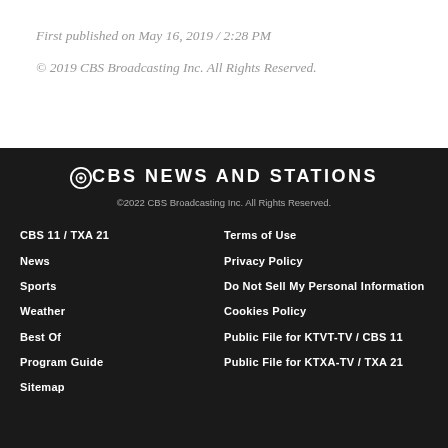First published on May 16, 2019 / 2:28 PM
© 2019 CBS Broadcasting Inc. All Rights Reserved.
[Figure (logo): CBS News and Stations logo with CBS eye icon]
©2022 CBS Broadcasting Inc. All Rights Reserved.
CBS 11 / TXA 21
News
Sports
Weather
Best Of
Program Guide
Sitemap
Terms of Use
Privacy Policy
Do Not Sell My Personal Information
Cookies Policy
Public File for KTVT-TV / CBS 11
Public File for KTXA-TV / TXA 21